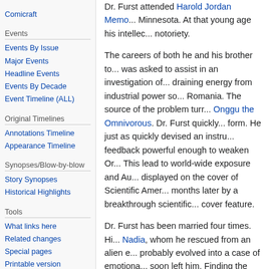Comicraft
Events
Events By Issue
Major Events
Headline Events
Events By Decade
Event Timeline (ALL)
Original Timelines
Annotations Timeline
Appearance Timeline
Synopses/Blow-by-blow
Story Synopses
Historical Highlights
Tools
What links here
Related changes
Special pages
Printable version
Permanent link
Dr. Furst attended Harold Jordan Memo... Minnesota. At that young age his intellec... notoriety.
The careers of both he and his brother to... was asked to assist in an investigation o... draining energy from industrial power so... Romania. The source of the problem turr... Onggu the Omnivorous. Dr. Furst quickly... form. He just as quickly devised an instru... feedback powerful enough to weaken Or... This lead to world-wide exposure and Au... displayed on the cover of Scientific Amer... months later by a breakthrough scientific... cover feature.
Dr. Furst has been married four times. Hi... Nadia, whom he rescued from an alien e... probably evolved into a case of emotiona... soon left him. Finding the romantic attent... man (Kaspian prince of the legendary...